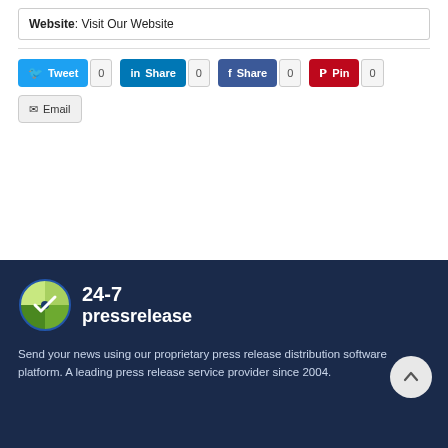Website: Visit Our Website
Tweet 0 | Share 0 | Share 0 | Pin 0 | Email
[Figure (logo): 24-7 pressrelease logo with clock icon]
Send your news using our proprietary press release distribution software platform. A leading press release service provider since 2004.